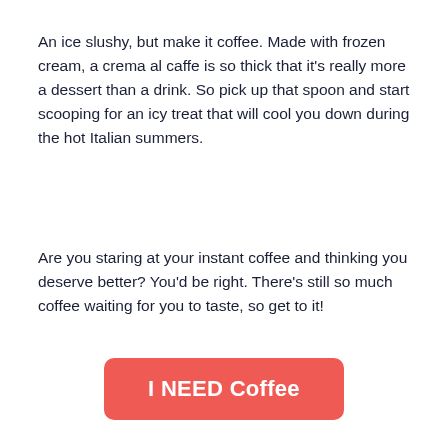An ice slushy, but make it coffee. Made with frozen cream, a crema al caffe is so thick that it's really more a dessert than a drink. So pick up that spoon and start scooping for an icy treat that will cool you down during the hot Italian summers.
Are you staring at your instant coffee and thinking you deserve better? You'd be right. There's still so much coffee waiting for you to taste, so get to it!
[Figure (other): A red/salmon rounded rectangle button with bold white text reading 'I NEED Coffee']